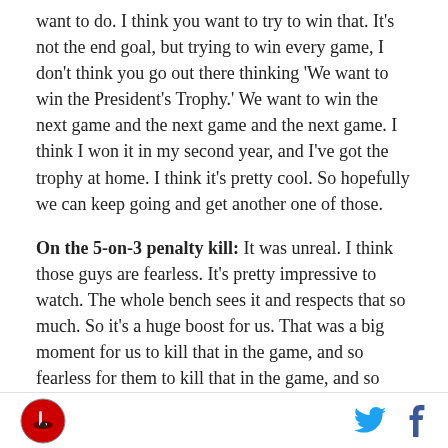want to do. I think you want to try to win that. It's not the end goal, but trying to win every game, I don't think you go out there thinking 'We want to win the President's Trophy.' We want to win the next game and the next game and the next game. I think I won it in my second year, and I've got the trophy at home. I think it's pretty cool. So hopefully we can keep going and get another one of those.
On the 5-on-3 penalty kill: It was unreal. I think those guys are fearless. It's pretty impressive to watch. The whole bench sees it and respects that so much. So it's a huge boost for us. That was a big moment for us to kill that in the game, and so fearless for them to basically play goalie, put themselves in front of those
[logo] [twitter] [facebook]